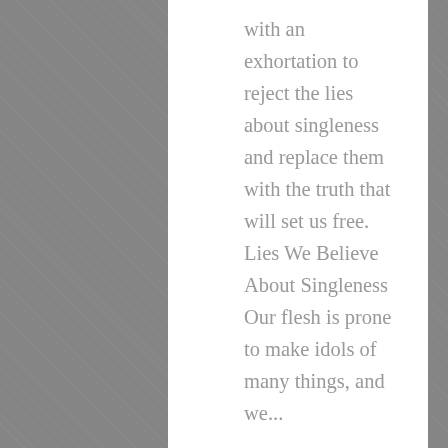with an exhortation to reject the lies about singleness and replace them with the truth that will set us free. Lies We Believe About Singleness Our flesh is prone to make idols of many things, and we...
Read More
Designed by Elegant Themes | Powered by WordPress